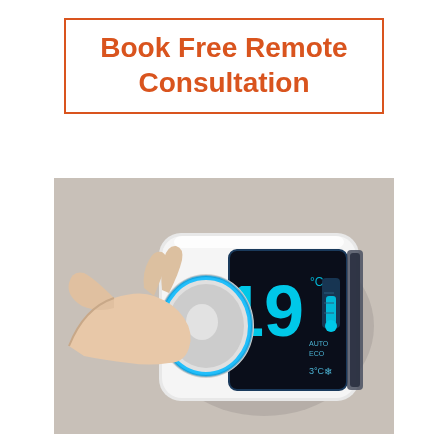Book Free Remote Consultation
[Figure (photo): A hand turning a modern smart thermostat dial, with the thermostat display showing '19°C' in bright blue digital numbers on a dark screen, with additional icons for temperature and eco mode. The device is white and mounted on a light gray wall.]